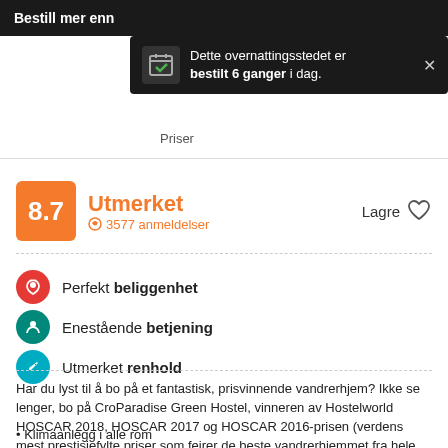Bestill mer enn
Dette overnattingsstedet er bestilt 6 ganger i dag.
Priser
8.7
Utmerket
3577 anmeldelser
Lagre
Perfekt beliggenhet
Enestående betjening
Utmerket renhold
Har du lyst til å bo på et fantastisk, prisvinnende vandrerhjem? Ikke se lenger, bo på CroParadise Green Hostel, vinneren av Hostelworld HOSCAR 2018, HOSCAR 2017 og HOSCAR 2016-prisen (verdens mest prestisjefylte priser som feirer de beste vandrerhjemmet fra hele verden) for det mest populære vandrerhjemmet i Split.
Klimaanlegg i alle rom